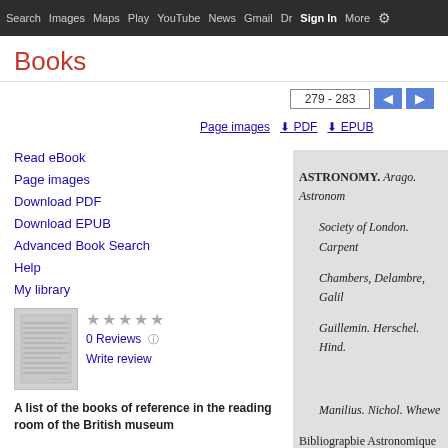Search  Images  Maps  Play  YouTube  News  Gmail  Dr Sign In More ⚙
Books
279 - 283
Read eBook
Page images
Download PDF
Download EPUB
Advanced Book Search
Help
My library
0 Reviews
Write review
A list of the books of reference in the reading room of the British museum
ASTRONOMY. Arago. Astronom
Society of London. Carpent
Chambers, Delambre, Galil
Guillemin. Herschel. Hind.

Manilius. Nichol. Whewe
Bibliograpbie Astronomique

François de Lalande.
Dictionnaire. Migne.
ATHEISM Compared. God
ATHENS. Antiquities. Stua
ATLASES, Charts, Maps, a
America. Alcedo. America